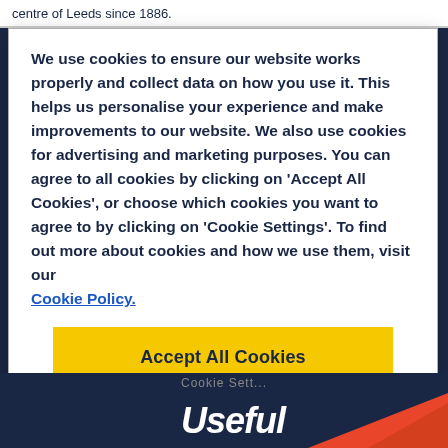centre of Leeds since 1886.
We use cookies to ensure our website works properly and collect data on how you use it. This helps us personalise your experience and make improvements to our website. We also use cookies for advertising and marketing purposes. You can agree to all cookies by clicking on 'Accept All Cookies', or choose which cookies you want to agree to by clicking on 'Cookie Settings'. To find out more about cookies and how we use them, visit our Cookie Policy.
Accept All Cookies
Useful